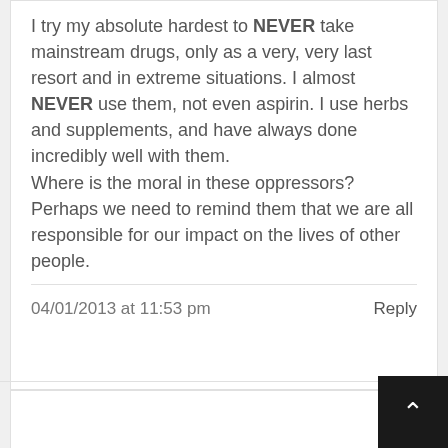I try my absolute hardest to NEVER take mainstream drugs, only as a very, very last resort and in extreme situations. I almost NEVER use them, not even aspirin. I use herbs and supplements, and have always done incredibly well with them. Where is the moral in these oppressors? Perhaps we need to remind them that we are all responsible for our impact on the lives of other people.
04/01/2013 at 11:53 pm
Reply